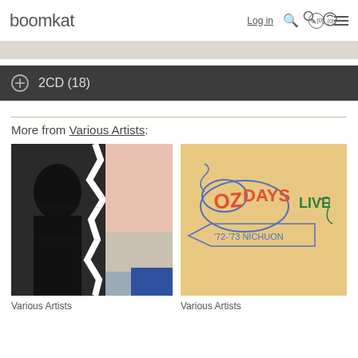boomkat
2CD (18)
More from Various Artists:
[Figure (photo): Album cover for Various Artists - abstract photographic collage with black-and-white photo and pink/blue geometric elements]
[Figure (photo): Album cover for Various Artists - OZ Days Live '72-'73 Nichuon, illustrated comic-style lettering on sandy beige background]
Various Artists
Various Artists